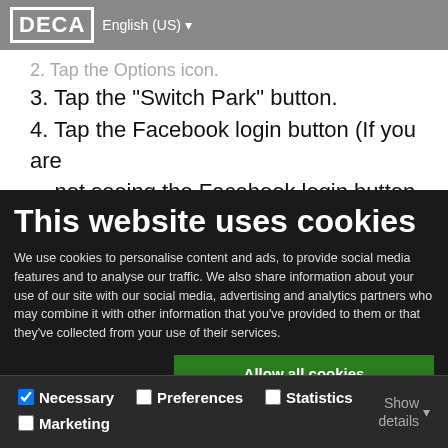DECA  English (US)
2. Tap the Options icon.
3. Tap the "Switch Park" button.
4. Tap the Facebook login button (If you are not seeing the Facebook login button,
This website uses cookies
We use cookies to personalise content and ads, to provide social media features and to analyse our traffic. We also share information about your use of our site with our social media, advertising and analytics partners who may combine it with other information that you've provided to them or that they've collected from your use of their services.
Allow all cookies
Allow selection
Use necessary cookies only
Necessary  Preferences  Statistics  Marketing  Show details